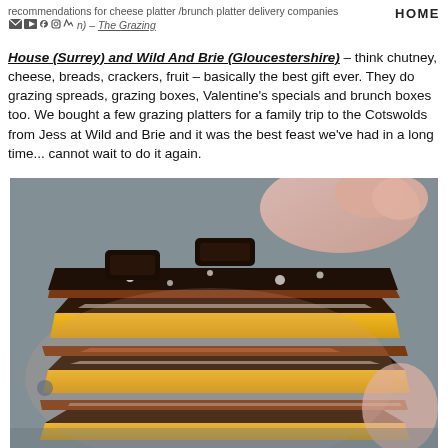recommendations for cheese platter /brunch platter delivery companies [icons] – The Grazing House (Surrey) and Wild And Brie (Gloucestershire)  HOME
House (Surrey) and Wild And Brie (Gloucestershire) – think chutney, cheese, breads, crackers, fruit – basically the best gift ever. They do grazing spreads, grazing boxes, Valentine's specials and brunch boxes too. We bought a few grazing platters for a family trip to the Cotswolds from Jess at Wild and Brie and it was the best feast we've had in a long time... cannot wait to do it again.
[Figure (photo): A hand holding a stack of layered dessert bars with chocolate cookie base, yellow caramel layer, chocolate ganache, and crushed Oreo cookie topping, photographed outdoors on a grey surface.]